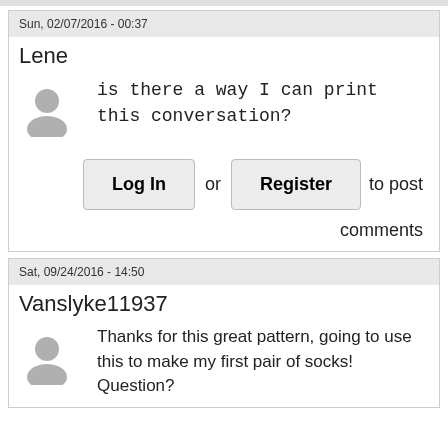Sun, 02/07/2016 - 00:37
Lene
is there a way I can print this conversation?
Log In or Register to post comments
Sat, 09/24/2016 - 14:50
Vanslyke11937
Thanks for this great pattern, going to use this to make my first pair of socks! Question?